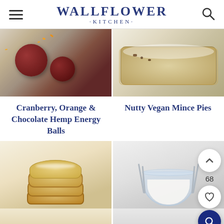WALLFLOWER ·KITCHEN·
[Figure (photo): Two food photos side by side: left shows cranberry chocolate energy balls with orange zest, right shows nutty vegan mince pie with powdered sugar]
Cranberry, Orange & Chocolate Hemp Energy Balls
Nutty Vegan Mince Pies
[Figure (photo): Two food photos side by side: left shows stacked shortbread/mince pie cookies with powdered sugar, right shows a glass mixing bowl with beaters]
[Figure (photo): Bottom partial photos: left is more of the shortbread, right is more of the mixing bowl]